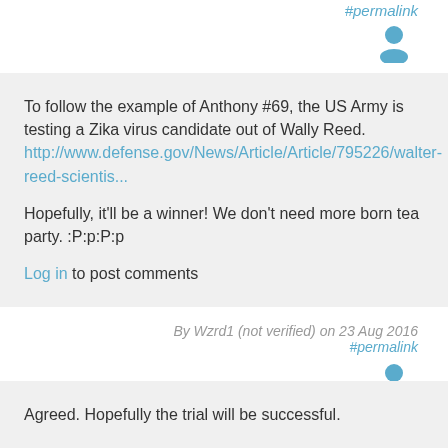#permalink
[Figure (illustration): User avatar icon (person silhouette in blue)]
To follow the example of Anthony #69, the US Army is testing a Zika virus candidate out of Wally Reed.
http://www.defense.gov/News/Article/Article/795226/walter-reed-scientis...
Hopefully, it'll be a winner! We don't need more born tea party. :P:p:P:p
Log in to post comments
By Wzrd1 (not verified) on 23 Aug 2016
#permalink
[Figure (illustration): User avatar icon (person silhouette in blue)]
Agreed. Hopefully the trial will be successful.